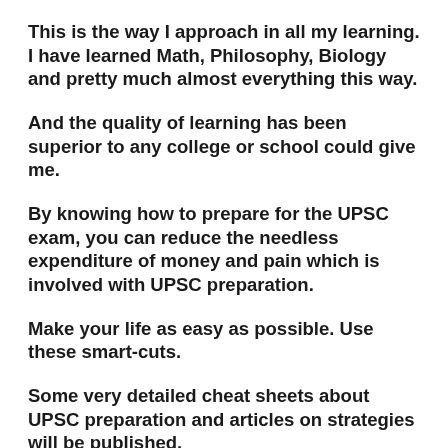This is the way I approach in all my learning. I have learned Math, Philosophy, Biology and pretty much almost everything this way.
And the quality of learning has been superior to any college or school could give me.
By knowing how to prepare for the UPSC exam, you can reduce the needless expenditure of money and pain which is involved with UPSC preparation.
Make your life as easy as possible. Use these smart-cuts.
Some very detailed cheat sheets about UPSC preparation and articles on strategies will be published.